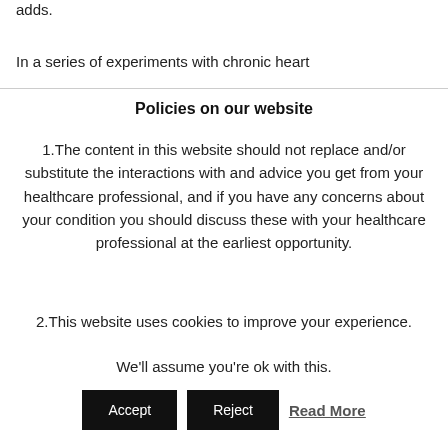adds.
In a series of experiments with chronic heart
Policies on our website
1.The content in this website should not replace and/or substitute the interactions with and advice you get from your healthcare professional, and if you have any concerns about your condition you should discuss these with your healthcare professional at the earliest opportunity.
2.This website uses cookies to improve your experience.
We'll assume you're ok with this.
Accept   Reject   Read More